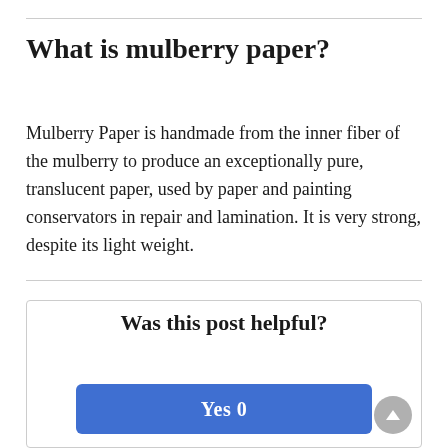What is mulberry paper?
Mulberry Paper is handmade from the inner fiber of the mulberry to produce an exceptionally pure, translucent paper, used by paper and painting conservators in repair and lamination. It is very strong, despite its light weight.
Was this post helpful?
Yes 0